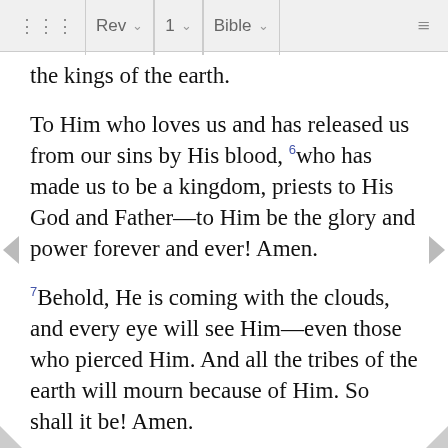Rev | 1 | Bible
the kings of the earth.
To Him who loves us and has released us from our sins by His blood, 6who has made us to be a kingdom, priests to His God and Father—to Him be the glory and power forever and ever! Amen.
7Behold, He is coming with the clouds, and every eye will see Him—even those who pierced Him. And all the tribes of the earth will mourn because of Him. So shall it be! Amen.
8"I am the Alpha and the Omega,a" says the Lord God, who is and was and is to come—the Almighty.
John's Vision on Patmos
9I, John, your brother and partner in the tribulation and kingdom and perseverance that are in Jesus